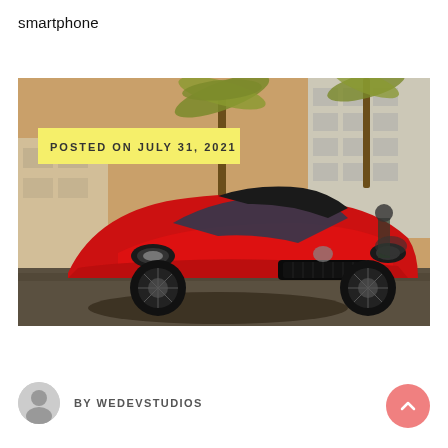smartphone
[Figure (photo): Red Ford Mustang GT sports car parked on a street with palm trees and a building in the background, motorcyclist visible to the right. Yellow badge overlay reads POSTED ON JULY 31, 2021.]
POSTED ON JULY 31, 2021
BY WEDEVSTUDIOS